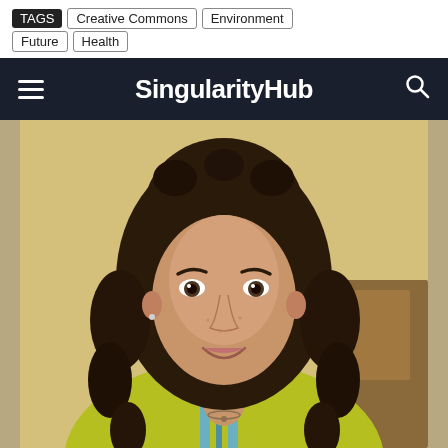TAGS  Creative Commons  Environment  Future  Health
SingularityHub
[Figure (photo): Portrait photo of a woman with curly dark hair, smiling, wearing a yellow-green cardigan over a striped shirt, indoors with a warm background.]